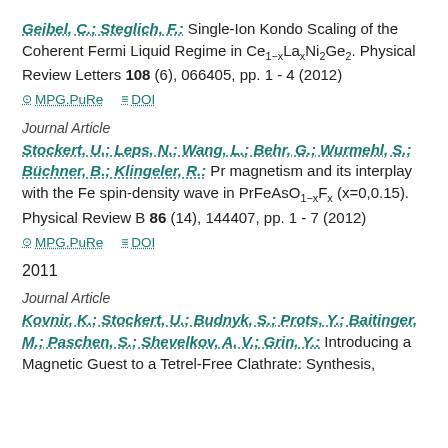Geibel, C.; Steglich, F.: Single-Ion Kondo Scaling of the Coherent Fermi Liquid Regime in Ce1-xLaxNi2Ge2. Physical Review Letters 108 (6), 066405, pp. 1 - 4 (2012)
MPG.PuRe   DOI
Journal Article
Stockert, U.; Leps, N.; Wang, L.; Behr, G.; Wurmehl, S.; Büchner, B.; Klingeler, R.: Pr magnetism and its interplay with the Fe spin-density wave in PrFeAsO1-xFx (x=0,0.15). Physical Review B 86 (14), 144407, pp. 1 - 7 (2012)
MPG.PuRe   DOI
2011
Journal Article
Kovnir, K.; Stockert, U.; Budnyk, S.; Prots, Y.; Baitinger, M.; Paschen, S.; Shevelkov, A. V.; Grin, Y.: Introducing a Magnetic Guest to a Tetrel-Free Clathrate: Synthesis,